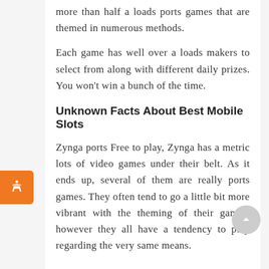more than half a loads ports games that are themed in numerous methods.
Each game has well over a loads makers to select from along with different daily prizes. You won't win a bunch of the time.
Unknown Facts About Best Mobile Slots
Zynga ports Free to play, Zynga has a metric lots of video games under their belt. As it ends up, several of them are really ports games. They often tend to go a little bit more vibrant with the theming of their games, however they all have a tendency to play regarding the very same means.
You win Wonka Pubs in the Willy Wonka ports video game. They're not excessively remarkable, however they work well sufficient. If we missed any type of fantastic ports games, tell us regarding them in the